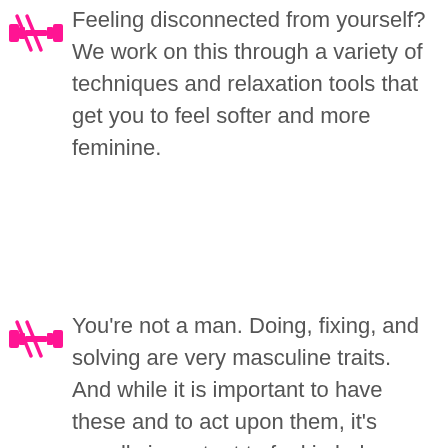Feeling disconnected from yourself? We work on this through a variety of techniques and relaxation tools that get you to feel softer and more feminine.
You're not a man. Doing, fixing, and solving are very masculine traits. And while it is important to have these and to act upon them, it's equally important to feel in balance with your femininity. This energetic piece of you feels, allows, and just “is”. You’re able to “be” without criticizing, solving, or working on anything. We accept you for who you are as a woman at your core, and create routines and beliefs to